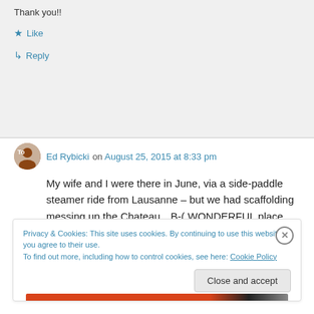Thank you!!
★ Like
↳ Reply
Ed Rybicki on August 25, 2015 at 8:33 pm
My wife and I were there in June, via a side-paddle steamer ride from Lausanne – but we had scaffolding messing up the Chateau…B-( WONDERFUL place though!
Privacy & Cookies: This site uses cookies. By continuing to use this website, you agree to their use.
To find out more, including how to control cookies, see here: Cookie Policy
Close and accept